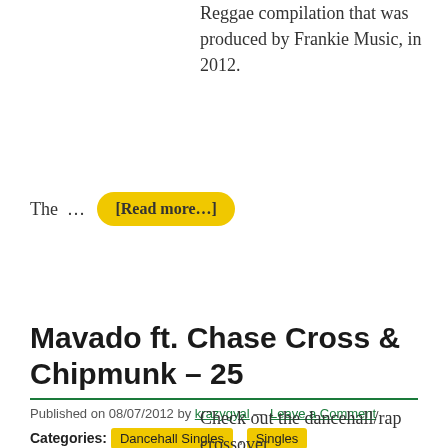Reggae compilation that was produced by Frankie Music, in 2012.
The … [Read more...]
Mavado ft. Chase Cross & Chipmunk – 25
Published on 08/07/2012 by krazygyal — Leave a Comment
Categories: Dancehall Singles, Singles
Tags: 2012, 75–84 BPM
Check out the dancehall/rap crossover